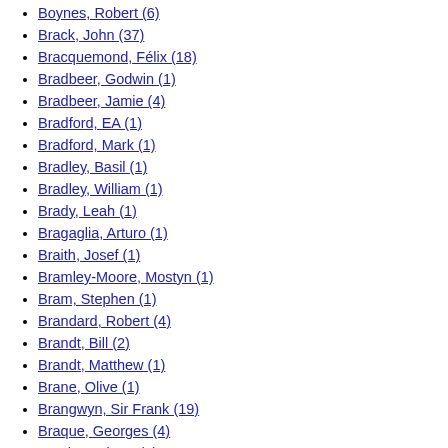Boynes, Robert (6)
Brack, John (37)
Bracquemond, Félix (18)
Bradbeer, Godwin (1)
Bradbeer, Jamie (4)
Bradford, EA (1)
Bradford, Mark (1)
Bradley, Basil (1)
Bradley, William (1)
Brady, Leah (1)
Bragaglia, Arturo (1)
Braith, Josef (1)
Bramley-Moore, Mostyn (1)
Bram, Stephen (1)
Brandard, Robert (4)
Brandt, Bill (2)
Brandt, Matthew (1)
Brane, Olive (1)
Brangwyn, Sir Frank (19)
Braque, Georges (4)
Brash, Barbara (3)
Brassai, George (3)
Brassington, Pat (27)
Brass, Italico (1)
Bratby, John (2)